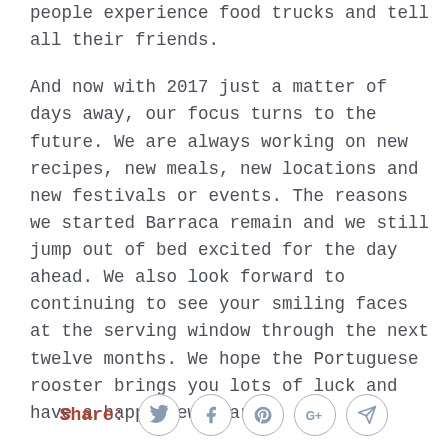people experience food trucks and tell all their friends.
And now with 2017 just a matter of days away, our focus turns to the future. We are always working on new recipes, new meals, new locations and new festivals or events. The reasons we started Barraca remain and we still jump out of bed excited for the day ahead. We also look forward to continuing to see your smiling faces at the serving window through the next twelve months. We hope the Portuguese rooster brings you lots of luck and have a happy new year!
[Figure (infographic): Share row with label 'Share:' and five circular social media icon buttons: Twitter, Facebook, Pinterest, Google+, and a send/paper-plane icon.]